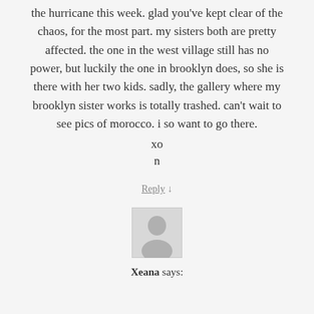the hurricane this week. glad you've kept clear of the chaos, for the most part. my sisters both are pretty affected. the one in the west village still has no power, but luckily the one in brooklyn does, so she is there with her two kids. sadly, the gallery where my brooklyn sister works is totally trashed. can't wait to see pics of morocco. i so want to go there.

xo

n
Reply ↓
[Figure (illustration): Generic user avatar placeholder icon showing a silhouette of a person, gray square background]
Xeana says: